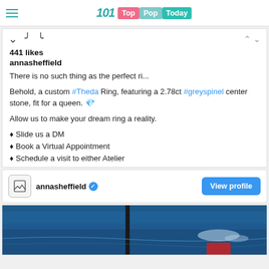Top Pop Today
441 likes
annasheffield
There is no such thing as the perfect ri...
Behold, a custom #Theda Ring, featuring a 2.78ct #greyspinel center stone, fit for a queen. 💎
Allow us to make your dream ring a reality.
✨ Slide us a DM
💻 Book a Virtual Appointment
🏛 Schedule a visit to either Atelier
annasheffield ✓ View profile
[Figure (photo): Dark blue photo background with a vertical rod/pole visible, ocean/water scene]